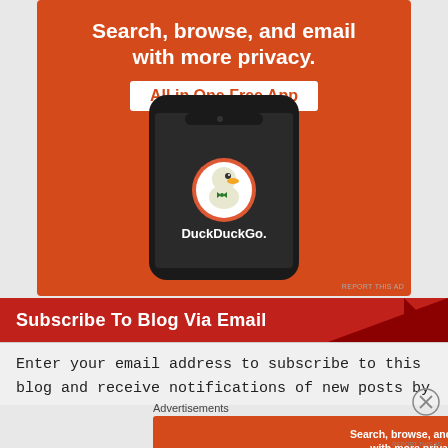[Figure (infographic): DuckDuckGo advertisement banner on orange background. Text reads 'Search, browse, and email with more privacy. All in One Free App'. Shows a smartphone with DuckDuckGo app logo (duck mascot) and the text 'DuckDuckGo.' on the phone screen.]
Subscribe To Blog Via Email
Enter your email address to subscribe to this blog and receive notifications of new posts by
Advertisements
[Figure (infographic): DuckDuckGo advertisement banner (smaller version) on orange background. Text reads 'Search, browse, and email with more privacy. All in One Free App'. Right side shows dark panel with DuckDuckGo logo.]